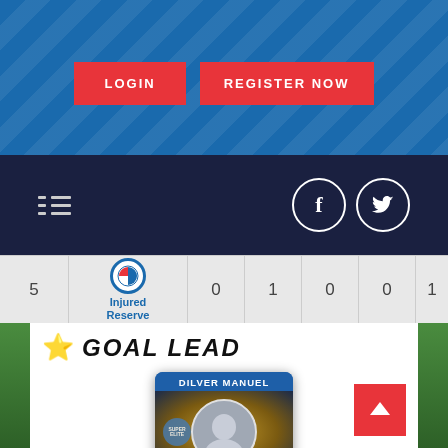[Figure (screenshot): Sports website header with blue gradient background and diagonal line pattern]
LOGIN
REGISTER NOW
[Figure (screenshot): Dark navy navigation bar with hamburger/list icon on left and Facebook/Twitter circular social icons on right]
| 5 | Injured Reserve | 0 | 1 | 0 | 0 | 1 |
| --- | --- | --- | --- | --- | --- | --- |
⭐ GOAL LEAD
[Figure (infographic): Player card for Dilver Manuel showing player photo, GOALS label and number 2]